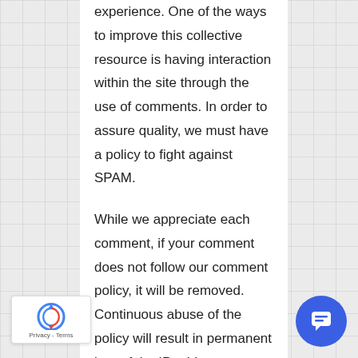experience. One of the ways to improve this collective resource is having interaction within the site through the use of comments. In order to assure quality, we must have a policy to fight against SPAM.
While we appreciate each comment, if your comment does not follow our comment policy, it will be removed. Continuous abuse of the policy will result in permanent ban of the IP address, domain, and the email used.
[Figure (logo): Google reCAPTCHA badge with circular arrows logo and Privacy - Terms text]
[Figure (other): Blue circular chat/message button icon in bottom right corner]